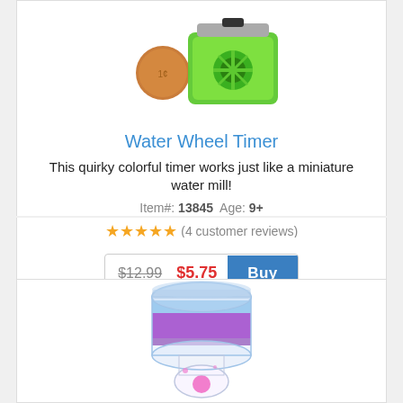[Figure (photo): Green water wheel timer toy next to a penny coin for size reference]
Water Wheel Timer
This quirky colorful timer works just like a miniature water mill!
Item#: 13845  Age: 9+
★★★★★ (4 customer reviews)
$12.99  $5.75  Buy
[Figure (photo): Liquid motion timer / hourglass toy with purple and pink colored liquid flowing through a clear plastic vessel]